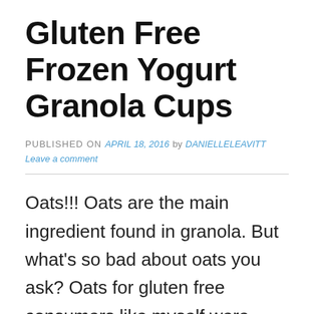Gluten Free Frozen Yogurt Granola Cups
PUBLISHED ON April 18, 2016 by danielleleavitt
Leave a comment
Oats!!! Oats are the main ingredient found in granola. But what's so bad about oats you ask? Oats for gluten free consumers like myself were once considered taboo. The controversy surrounds the fact that most oats were not considered to be "pure" and